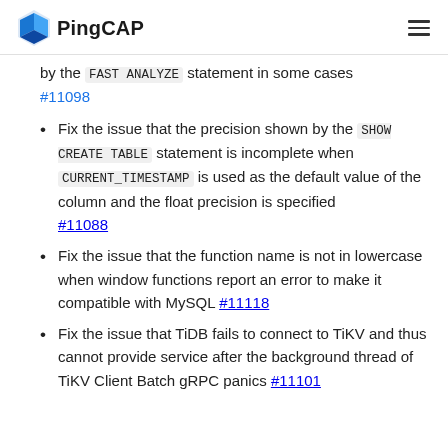PingCAP
by the FAST ANALYZE statement in some cases #11098
Fix the issue that the precision shown by the SHOW CREATE TABLE statement is incomplete when CURRENT_TIMESTAMP is used as the default value of the column and the float precision is specified #11088
Fix the issue that the function name is not in lowercase when window functions report an error to make it compatible with MySQL #11118
Fix the issue that TiDB fails to connect to TiKV and thus cannot provide service after the background thread of TiKV Client Batch gRPC panics #11101